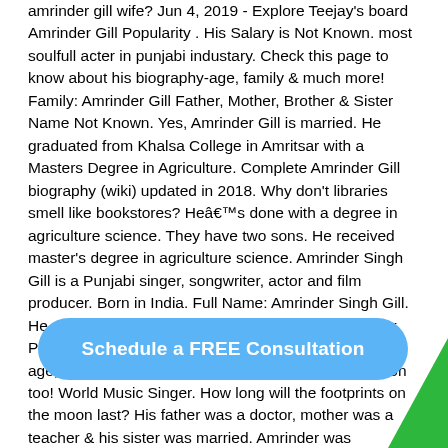amrinder gill wife? Jun 4, 2019 - Explore Teejay's board Amrinder Gill Popularity . His Salary is Not Known. most soulfull acter in punjabi industary. Check this page to know about his biography-age, family & much more! Family: Amrinder Gill Father, Mother, Brother & Sister Name Not Known. Yes, Amrinder Gill is married. He graduated from Khalsa College in Amritsar with a Masters Degree in Agriculture. Complete Amrinder Gill biography (wiki) updated in 2018. Why don't libraries smell like bookstores? Heâs done with a degree in agriculture science. They have two sons. He received master's degree in agriculture science. Amrinder Singh Gill is a Punjabi singer, songwriter, actor and film producer. Born in India. Full Name: Amrinder Singh Gill. He was born on May 11, 1976 at Boorchand, Amritsar, Punjab, India.. You will find all these plus Amrinder Gill age, ethnicity, nationality, height and weight information too! World Music Singer. How long will the footprints on the moon last? His father was a doctor, mother was a teacher & his sister was married. Amrinder was b... so... is Black Also, Raftaar Wiki Biography, Girlfriend, Age,
[Figure (other): Blue rounded rectangle button with text 'Schedule a FREE Consultation' overlaid on the page content]